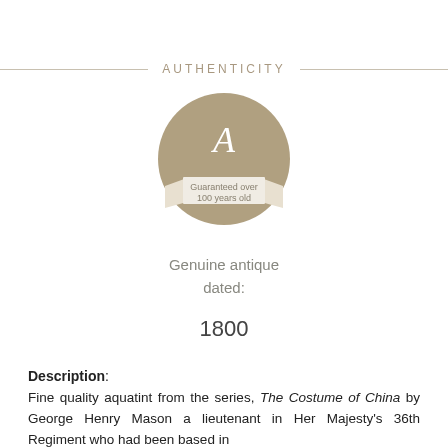AUTHENTICITY
[Figure (logo): Circular tan/khaki seal badge with decorative letter A at top and a banner ribbon across the middle reading 'Guaranteed over 100 years old']
Genuine antique dated:
1800
Description: Fine quality aquatint from the series, The Costume of China by George Henry Mason a lieutenant in Her Majesty's 36th Regiment who had been based in